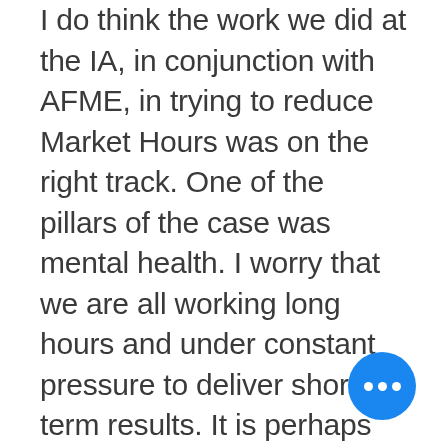I do think the work we did at the IA, in conjunction with AFME, in trying to reduce Market Hours was on the right track. One of the pillars of the case was mental health. I worry that we are all working long hours and under constant pressure to deliver short term results. It is perhaps fair to say that comes with the territory but I felt the balance had gone wrong. Maybe the pandemic and working from home has forced a reset of that to some extent. The new world feels slightly less rushed, not jumping from meeting to meeting, and the Zoom setu… seems to optimise the time